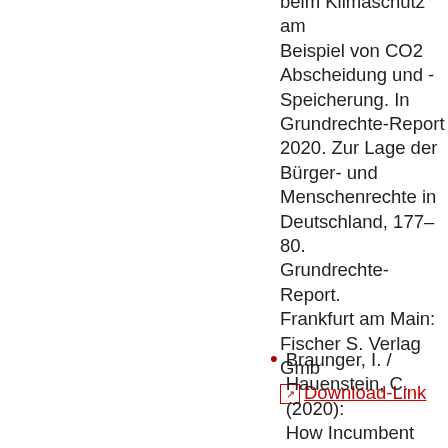beim Klimaschutz am Beispiel von CO2 Abscheidung und - Speicherung. In Grundrechte-Report 2020. Zur Lage der Bürger- und Menschenrechte in Deutschland, 177–80. Grundrechte-Report. Frankfurt am Main: Fischer S. Verlag GmbH. Download-Link
Braunger, I. / Hauenstein, C. (2020): How Incumbent Culture and Cognitive Path Dependencies Constrain the 'Scenario Space'